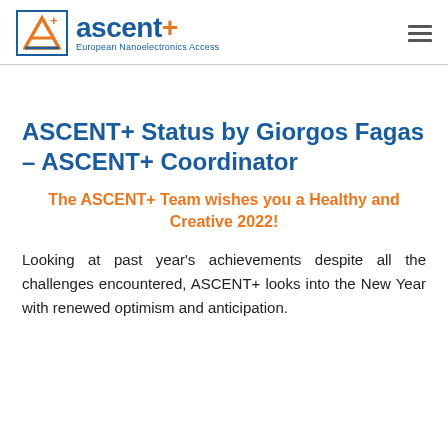ascent+ European Nanoelectronics Access
ASCENT+ Status by Giorgos Fagas – ASCENT+ Coordinator
The ASCENT+ Team wishes you a Healthy and Creative 2022!
Looking at past year's achievements despite all the challenges encountered, ASCENT+ looks into the New Year with renewed optimism and anticipation.